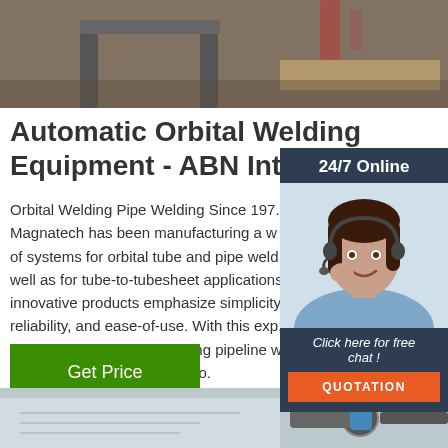[Figure (photo): Top photograph showing welding equipment or industrial workshop setting]
Automatic Orbital Welding Equipment - ABN Internatio…
Orbital Welding Pipe Welding Since 1972. Magnatech has been manufacturing a wide range of systems for orbital tube and pipe welding, as well as for tube-to-tubesheet applications. Our innovative products emphasize simplicity, reliability, and ease-of-use. With this expertise, Magnatech started developing pipeline welding systems around 15 years ago.
[Figure (photo): Chat widget with 24/7 Online header, female customer service agent with headset, Click here for free chat text, and QUOTATION orange button]
Get Price
[Figure (photo): Bottom photograph showing industrial piping or welding work]